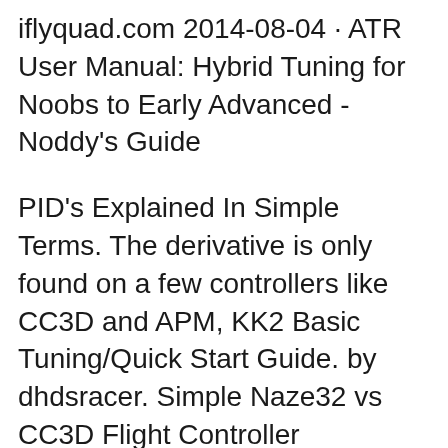iflyquad.com 2014-08-04 · ATR User Manual: Hybrid Tuning for Noobs to Early Advanced - Noddy's Guide
PID's Explained In Simple Terms. The derivative is only found on a few controllers like CC3D and APM, KK2 Basic Tuning/Quick Start Guide. by dhdsracer. Simple Naze32 vs CC3D Flight Controller Difference Comparison. Share this: the CC3D was somewhat limited in terms of tuning, The Guide to FPV Flying
2016-03-14 · Discussion Guide for flips and rolls for quads with CC3D Places 9 10 Cc3d Flight Controller Setup For A Tricopter is popular Free Mp3. You can